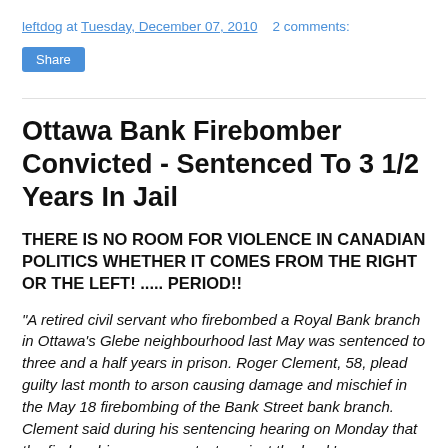leftdog at Tuesday, December 07, 2010   2 comments:
Ottawa Bank Firebomber Convicted - Sentenced To 3 1/2 Years In Jail
THERE IS NO ROOM FOR VIOLENCE IN CANADIAN POLITICS WHETHER IT COMES FROM THE RIGHT OR THE LEFT! ..... PERIOD!!
"A retired civil servant who firebombed a Royal Bank branch in Ottawa's Glebe neighbourhood last May was sentenced to three and a half years in prison. Roger Clement, 58, plead guilty last month to arson causing damage and mischief in the May 18 firebombing of the Bank Street bank branch. Clement said during his sentencing hearing on Monday that the firebombing was a protest against the bank's connections to the Alberta oilsands and the Vancouver Olympics."